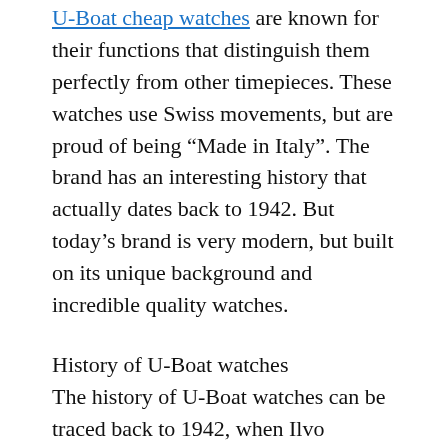U-Boat cheap watches are known for their functions that distinguish them perfectly from other timepieces. These watches use Swiss movements, but are proud of being “Made in Italy”. The brand has an interesting history that actually dates back to 1942. But today’s brand is very modern, but built on its unique background and incredible quality watches.
History of U-Boat watches
The history of U-Boat watches can be traced back to 1942, when Ilvo Fontana was commissioned to produce a timepiece for Italian naval officers. These watches will be the pride of U-Boat officers made by the best Italian watchmakers. However, for unknown reasons, this project was cancelled before any